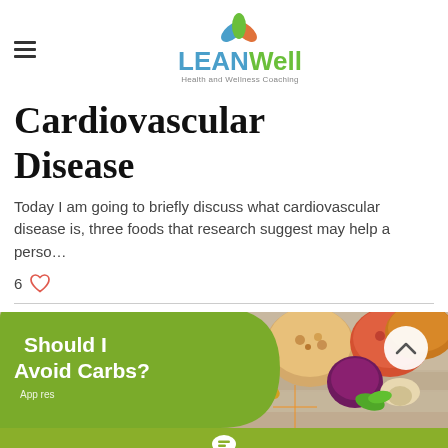LEANWell Health and Wellness Coaching
Cardiovascular Disease
Today I am going to briefly discuss what cardiovascular disease is, three foods that research suggest may help a perso...
6 ♡
[Figure (photo): Promotional card for 'Should I Avoid Carbs?' article showing various foods including grains, vegetables, and fruit on a wooden table background, with a green curved overlay and chat button at bottom]